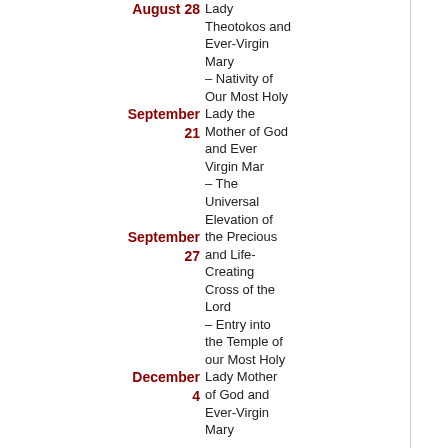August 28 – Nativity of Our Most Holy Lady Theotokos and Ever-Virgin Mary
September 21 – Our Most Holy Lady the Mother of God and Ever Virgin Mary
September 27 – The Universal Elevation of the Precious and Life-Creating Cross of the Lord
December 4 – Entry into the Temple of our Most Holy Lady Mother of God and Ever-Virgin Mary
Movable Great Feasts
March 28 – Palm Sunday
May 13 – Holy Ascension